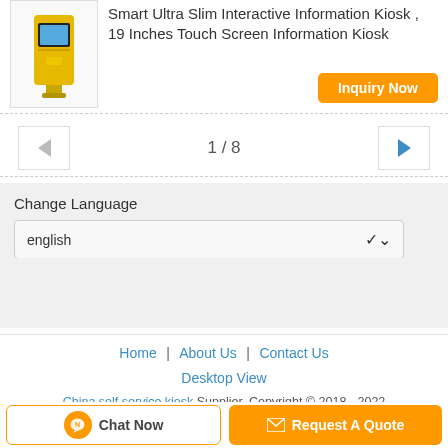[Figure (photo): Yellow slim interactive information kiosk with touchscreen display]
Smart Ultra Slim Interactive Information Kiosk , 19 Inches Touch Screen Information Kiosk
Inquiry Now
1 / 8
Change Language
english
Home | About Us | Contact Us
Desktop View
China self service kiosk Supplier. Copyright © 2018 - 2022 automatedpaymentkiosk.com.
Chat Now
Request A Quote